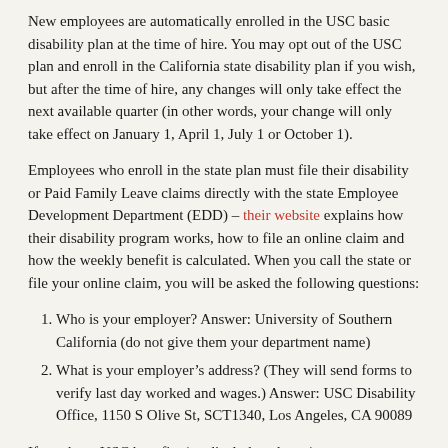New employees are automatically enrolled in the USC basic disability plan at the time of hire. You may opt out of the USC plan and enroll in the California state disability plan if you wish, but after the time of hire, any changes will only take effect the next available quarter (in other words, your change will only take effect on January 1, April 1, July 1 or October 1).
Employees who enroll in the state plan must file their disability or Paid Family Leave claims directly with the state Employee Development Department (EDD) – their website explains how their disability program works, how to file an online claim and how the weekly benefit is calculated. When you call the state or file your online claim, you will be asked the following questions:
Who is your employer? Answer: University of Southern California (do not give them your department name)
What is your employer's address? (They will send forms to verify last day worked and wages.) Answer: USC Disability Office, 1150 S Olive St, SCT1340, Los Angeles, CA 90089
If you have USC benefits (medical, dental, etc.) you must arrange to continue paying your premiums since you will not receive disability